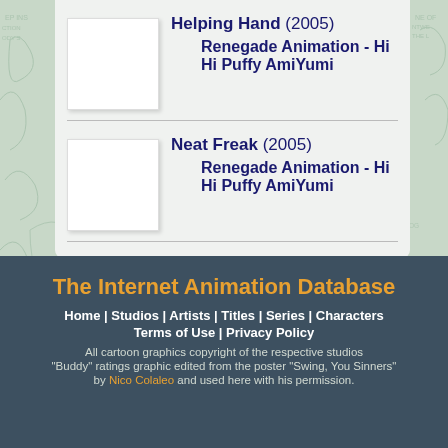Helping Hand (2005) Renegade Animation - Hi Hi Puffy AmiYumi
Neat Freak (2005) Renegade Animation - Hi Hi Puffy AmiYumi
The Internet Animation Database
Home | Studios | Artists | Titles | Series | Characters Terms of Use | Privacy Policy
All cartoon graphics copyright of the respective studios
"Buddy" ratings graphic edited from the poster "Swing, You Sinners" by Nico Colaleo and used here with his permission.